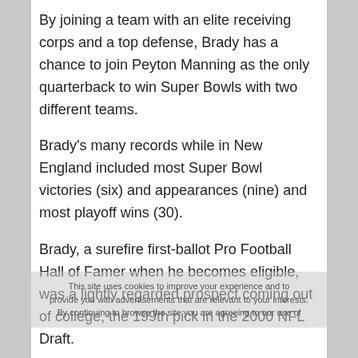By joining a team with an elite receiving corps and a top defense, Brady has a chance to join Peyton Manning as the only quarterback to win Super Bowls with two different teams.
Brady's many records while in New England included most Super Bowl victories (six) and appearances (nine) and most playoff wins (30).
Brady, a surefire first-ballot Pro Football Hall of Famer when he becomes eligible, was a lightly regarded prospect coming out of college, the 199th pick in the 2000 NFL Draft.